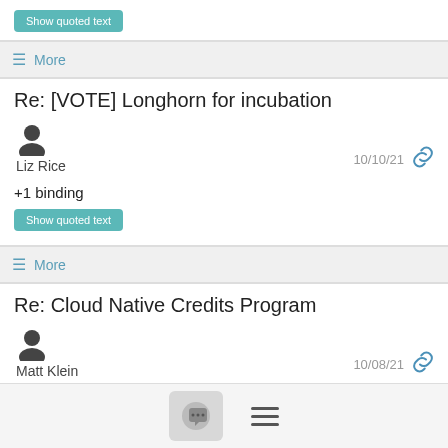Show quoted text
≡ More
Re: [VOTE] Longhorn for incubation
Liz Rice  10/10/21
+1 binding
Show quoted text
≡ More
Re: Cloud Native Credits Program
Matt Klein  10/08/21